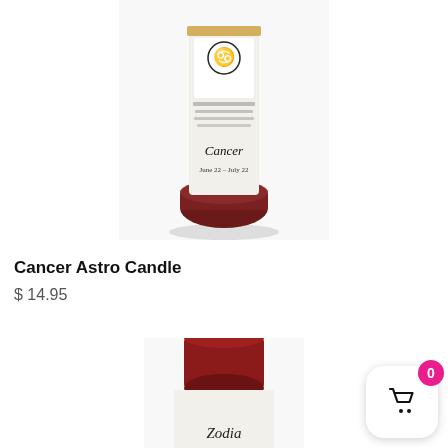[Figure (photo): Cancer Astro Candle product photo - a tall white cylindrical candle with Cancer zodiac label and dark red/maroon wax base]
Cancer Astro Candle
$ 14.95
[Figure (photo): Partial photo of a second zodiac candle with red/maroon wax top and white label partially showing 'Zodia...']